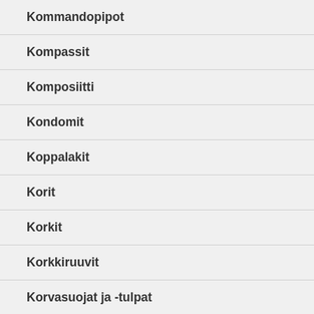Kommandopipot
Kompassit
Komposiitti
Kondomit
Koppalakit
Korit
Korkit
Korkkiruuvit
Korvasuojat ja -tulpat